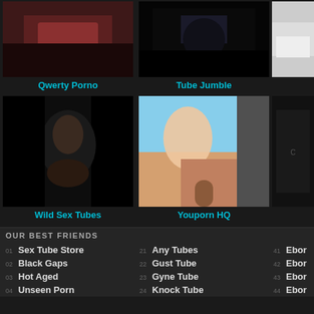[Figure (photo): Thumbnail image row 1: left adult content thumbnail labeled Qwerty Porno]
Qwerty Porno
[Figure (photo): Thumbnail image row 1: center adult content thumbnail labeled Tube Jumble]
Tube Jumble
[Figure (photo): Thumbnail image row 2: left adult content thumbnail labeled Wild Sex Tubes]
Wild Sex Tubes
[Figure (photo): Thumbnail image row 2: center adult content thumbnail labeled Youporn HQ]
Youporn HQ
OUR BEST FRIENDS
01 Sex Tube Store
02 Black Gaps
03 Hot Aged
04 Unseen Porn
21 Any Tubes
22 Gust Tube
23 Gyne Tube
24 Knock Tube
41 Ebor
42 Ebor
43 Ebor
44 Ebor